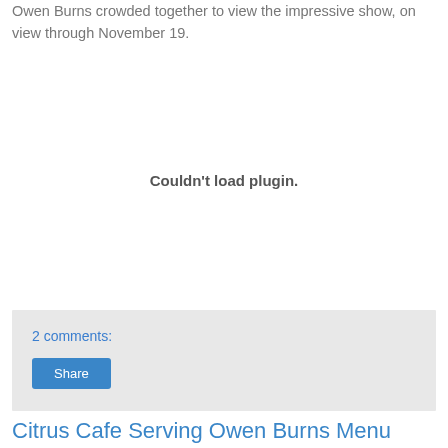Owen Burns crowded together to view the impressive show, on view through November 19.
[Figure (other): Couldn't load plugin.]
2 comments:
Share
Citrus Cafe Serving Owen Burns Menu